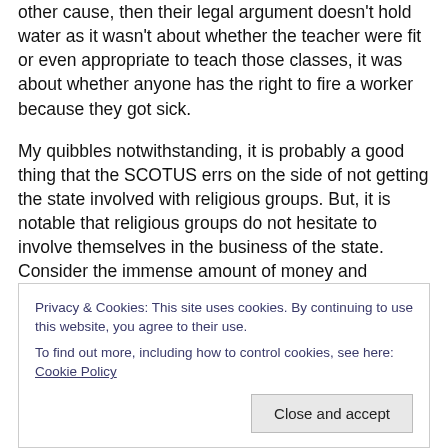other cause, then their legal argument doesn't hold water as it wasn't about whether the teacher were fit or even appropriate to teach those classes, it was about whether anyone has the right to fire a worker because they got sick.
My quibbles notwithstanding, it is probably a good thing that the SCOTUS errs on the side of not getting the state involved with religious groups. But, it is notable that religious groups do not hesitate to involve themselves in the business of the state. Consider the immense amount of money and volunteer labor provided by the Mormon
Privacy & Cookies: This site uses cookies. By continuing to use this website, you agree to their use.
To find out more, including how to control cookies, see here: Cookie Policy